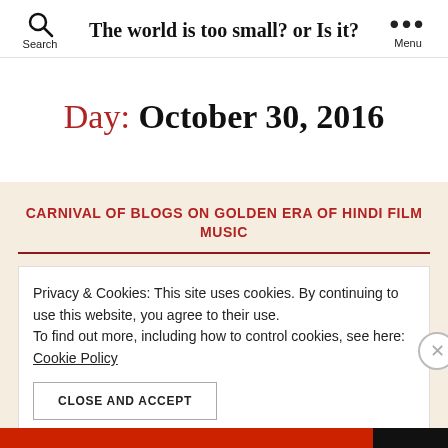The world is too small? or Is it?
Day: October 30, 2016
CARNIVAL OF BLOGS ON GOLDEN ERA OF HINDI FILM MUSIC
Privacy & Cookies: This site uses cookies. By continuing to use this website, you agree to their use. To find out more, including how to control cookies, see here: Cookie Policy
CLOSE AND ACCEPT